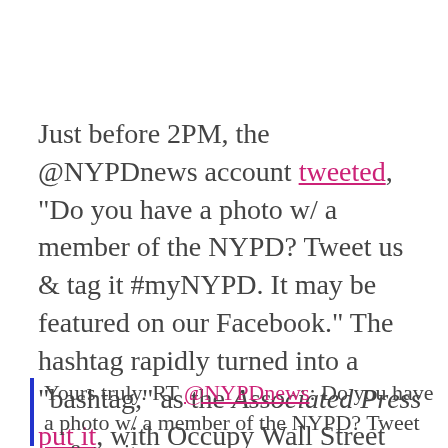Just before 2PM, the @NYPDnews account tweeted, "Do you have a photo w/ a member of the NYPD? Tweet us & tag it #myNYPD. It may be featured on our Facebook." The hashtag rapidly turned into a "bashtag," as the Associated Press put it, with Occupy Wall Street and other activists tweeting their unflattering photos of cops using violence. Soon, #myNYPD became one of Twitter's top trending topics.
Yours truly. RT @NYPDnews: Do you have a photo w/ a member of the NYPD? Tweet us & tag it